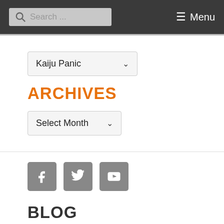Search ... Menu
[Figure (screenshot): Dropdown select box showing 'Kaiju Panic' with a chevron arrow]
ARCHIVES
[Figure (screenshot): Dropdown select box showing 'Select Month' with a chevron arrow]
[Figure (infographic): Three social media icon buttons: Facebook (f), Twitter (bird), YouTube (play)]
BLOG